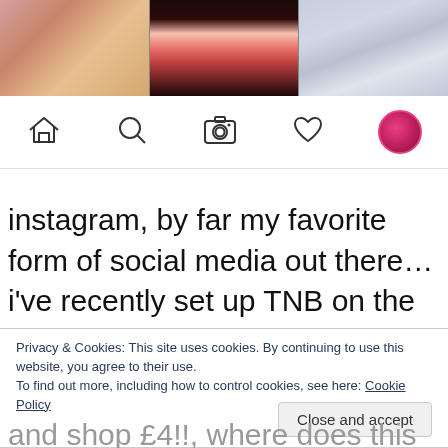[Figure (screenshot): Instagram app screenshot showing three photos in a grid at top, followed by the bottom navigation bar with home, search, camera, heart, and profile avatar icons.]
instagram, by far my favorite form of social media out there…i've recently set up TNB on the platform and have followed a LOT of bloggers. word on the street is that this
Privacy & Cookies: This site uses cookies. By continuing to use this website, you agree to their use. To find out more, including how to control cookies, see here: Cookie Policy
and shop £4!!, where does this money come from? as